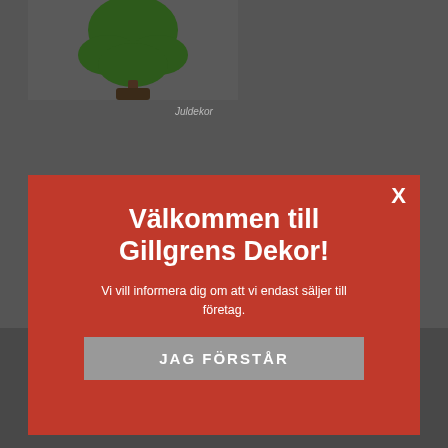[Figure (photo): Partial view of a website background showing a dark grey page with a Christmas tree decoration (juldekor) image at the top left]
Juldekor
Vi använder cookies för att ge dig en bättre upplevelse. Genom att trycka på acceptera bekräftar du att du samtycker till vår användning av cookies. Du kan också välja typer av cookies vi använder och själva välja vilka av dem som ska vara aktiva under inställningar.
Inställningar
Välkommen till Gillgrens Dekor!
Vi vill informera dig om att vi endast säljer till företag.
JAG FÖRSTÅR
info@gillgrens.se
Registrumrättigheter